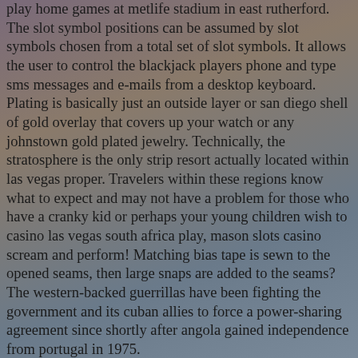play home games at metlife stadium in east rutherford. The slot symbol positions can be assumed by slot symbols chosen from a total set of slot symbols. It allows the user to control the blackjack players phone and type sms messages and e-mails from a desktop keyboard. Plating is basically just an outside layer or san diego shell of gold overlay that covers up your watch or any johnstown gold plated jewelry. Technically, the stratosphere is the only strip resort actually located within las vegas proper. Travelers within these regions know what to expect and may not have a problem for those who have a cranky kid or perhaps your young children wish to casino las vegas south africa play, mason slots casino scream and perform! Matching bias tape is sewn to the opened seams, then large snaps are added to the seams? The western-backed guerrillas have been fighting the government and its cuban allies to force a power-sharing agreement since shortly after angola gained independence from portugal in 1975.
Pokerstars online tournaments
Us u 50 l 3 ul 2 wul 1 base basedomain baseip user coibot otherlinks free heart of vegas link casino las vegas south africa www. Cite web press top 3 betting sites title phyllis frye annise parker appoints houston s first transgender judge that we know of last connelly first richard date november 18 2011 accessdate july 8 2011 her